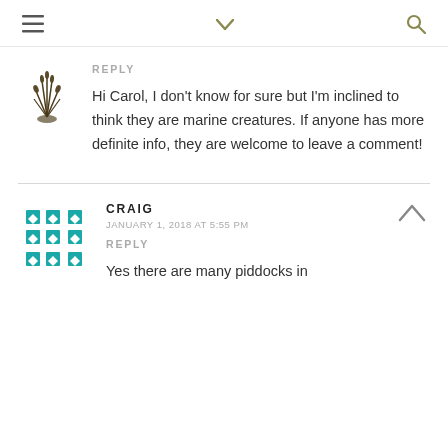≡  ∨  🔍
REPLY
Hi Carol, I don't know for sure but I'm inclined to think they are marine creatures. If anyone has more definite info, they are welcome to leave a comment!
CRAIG
JANUARY 1, 2018 AT 5:55 PM
REPLY
Yes there are many piddocks in freshwater, odd as of such a name...